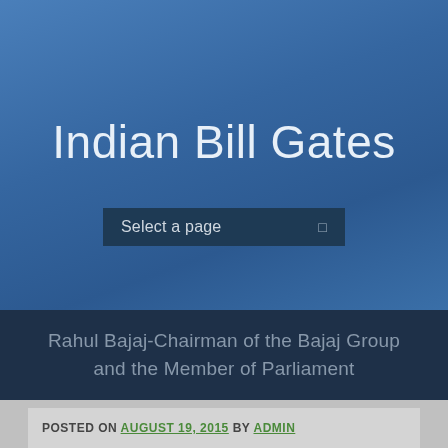Indian Bill Gates
Select a page
Rahul Bajaj-Chairman of the Bajaj Group and the Member of Parliament
POSTED ON AUGUST 19, 2015 BY ADMIN